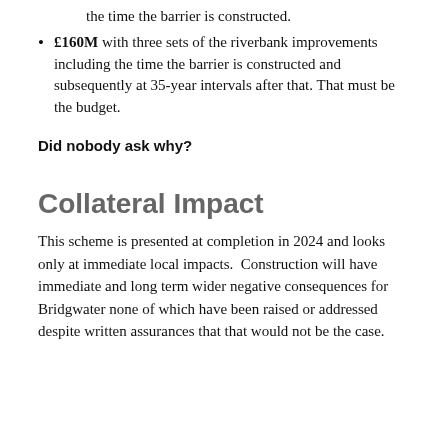the time the barrier is constructed.
£160M with three sets of the riverbank improvements including the time the barrier is constructed and subsequently at 35-year intervals after that. That must be the budget.
Did nobody ask why?
Collateral Impact
This scheme is presented at completion in 2024 and looks only at immediate local impacts.  Construction will have immediate and long term wider negative consequences for Bridgwater none of which have been raised or addressed despite written assurances that that would not be the case.